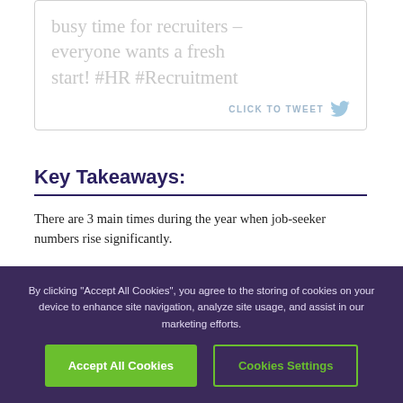busy time for recruiters – everyone wants a fresh start! #HR #Recruitment
CLICK TO TWEET
Key Takeaways:
There are 3 main times during the year when job-seeker numbers rise significantly.
1. January
The most popular time to recruit is (don't you know)
By clicking "Accept All Cookies", you agree to the storing of cookies on your device to enhance site navigation, analyze site usage, and assist in our marketing efforts.
Accept All Cookies
Cookies Settings